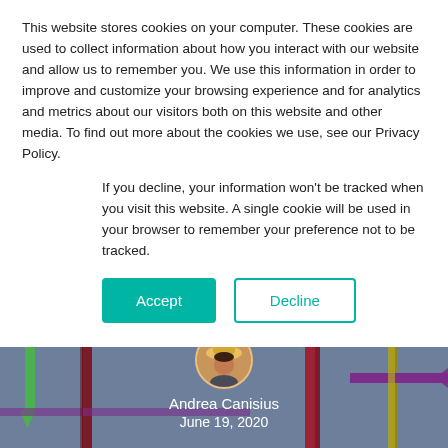This website stores cookies on your computer. These cookies are used to collect information about how you interact with our website and allow us to remember you. We use this information in order to improve and customize your browsing experience and for analytics and metrics about our visitors both on this website and other media. To find out more about the cookies we use, see our Privacy Policy.
If you decline, your information won't be tracked when you visit this website. A single cookie will be used in your browser to remember your preference not to be tracked.
[Figure (screenshot): Two buttons: a teal 'Accept' button and a white 'Decline' button with teal border]
Language Analysis Article
Andrea Canisius
June 19, 2020